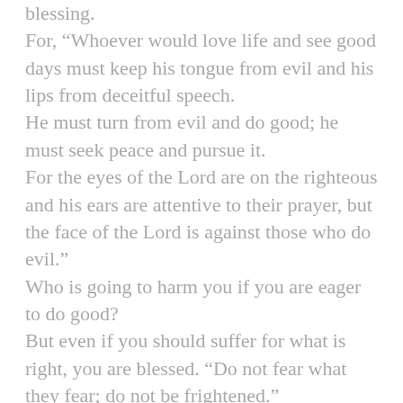blessing.
For, “Whoever would love life and see good days must keep his tongue from evil and his lips from deceitful speech.
He must turn from evil and do good; he must seek peace and pursue it.
For the eyes of the Lord are on the righteous and his ears are attentive to their prayer, but the face of the Lord is against those who do evil.”
Who is going to harm you if you are eager to do good?
But even if you should suffer for what is right, you are blessed. “Do not fear what they fear; do not be frightened.”
But in your hearts set apart Christ as Lord